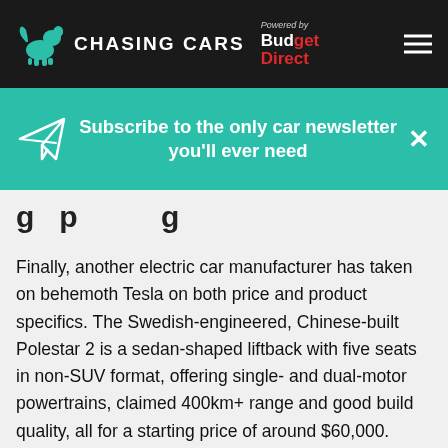CHASING CARS — Powered by Budget Direct
[Figure (infographic): Subscribe newsletter banner with paper plane icon and close X button. Text: Subscribe to the only car newsletter you'll ever need]
…p…g…
Finally, another electric car manufacturer has taken on behemoth Tesla on both price and product specifics. The Swedish-engineered, Chinese-built Polestar 2 is a sedan-shaped liftback with five seats in non-SUV format, offering single- and dual-motor powertrains, claimed 400km+ range and good build quality, all for a starting price of around $60,000.
That formula sounded good to us, which is one reason we took on a Polestar 2 dual motor…